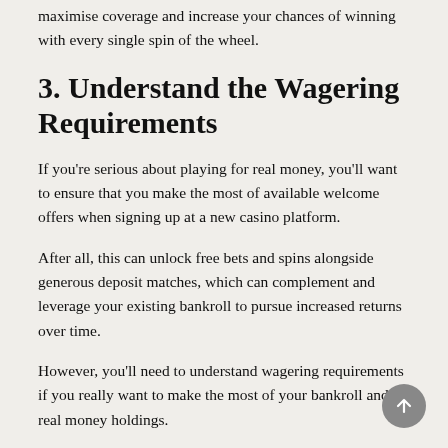maximise coverage and increase your chances of winning with every single spin of the wheel.
3. Understand the Wagering Requirements
If you're serious about playing for real money, you'll want to ensure that you make the most of available welcome offers when signing up at a new casino platform.
After all, this can unlock free bets and spins alongside generous deposit matches, which can complement and leverage your existing bankroll to pursue increased returns over time.
However, you'll need to understand wagering requirements if you really want to make the most of your bankroll and real money holdings.
Wagering requirements refer to the amount that you're required to 'play through' in order to unlock any winnings associated with a bonus offer. It's usually expressed as a